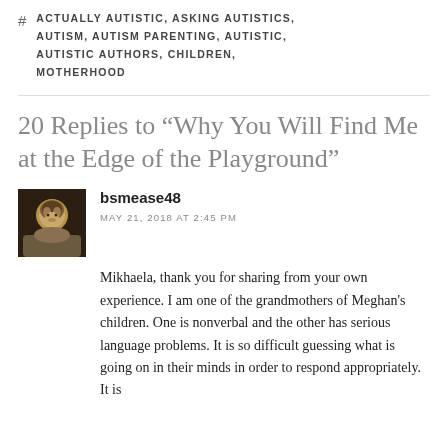ACTUALLY AUTISTIC, ASKING AUTISTICS, AUTISM, AUTISM PARENTING, AUTISTIC, AUTISTIC AUTHORS, CHILDREN, MOTHERHOOD
20 Replies to “Why You Will Find Me at the Edge of the Playground”
bsmease48
MAY 21, 2018 AT 2:45 PM
Mikhaela, thank you for sharing from your own experience. I am one of the grandmothers of Meghan’s children. One is nonverbal and the other has serious language problems. It is so difficult guessing what is going on in their minds in order to respond appropriately. It is